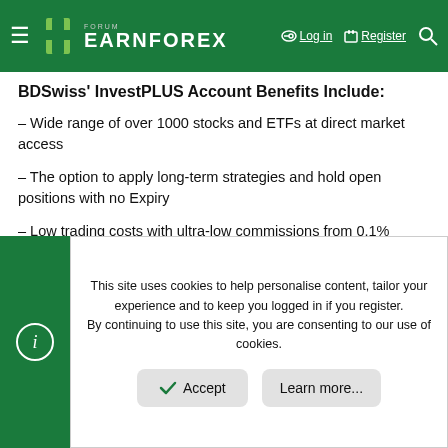FORUM EARNFOREX — Log in | Register
BDSwiss' InvestPLUS Account Benefits Include:
– Wide range of over 1000 stocks and ETFs at direct market access
– The option to apply long-term strategies and hold open positions with no Expiry
– Low trading costs with ultra-low commissions from 0.1%
– Up to 1:5 leverage and stock dividends paid on long positions
This site uses cookies to help personalise content, tailor your experience and to keep you logged in if you register. By continuing to use this site, you are consenting to our use of cookies.